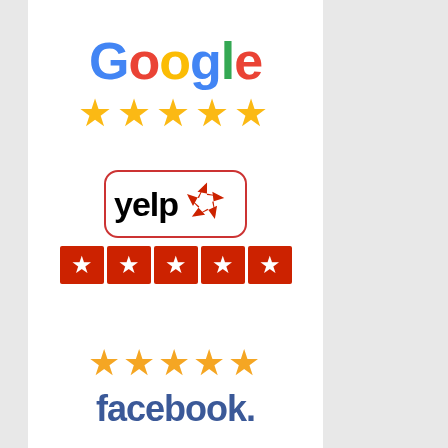Continue Reading →
[Figure (logo): Google logo with five golden stars below it]
[Figure (logo): Yelp logo with five red star boxes below it]
[Figure (logo): Five golden stars above the Facebook logo text]